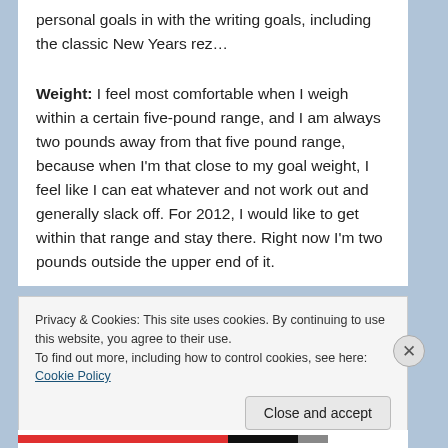personal goals in with the writing goals, including the classic New Years rez…
Weight: I feel most comfortable when I weigh within a certain five-pound range, and I am always two pounds away from that five pound range, because when I'm that close to my goal weight, I feel like I can eat whatever and not work out and generally slack off. For 2012, I would like to get within that range and stay there. Right now I'm two pounds outside the upper end of it.
Privacy & Cookies: This site uses cookies. By continuing to use this website, you agree to their use. To find out more, including how to control cookies, see here: Cookie Policy
Close and accept